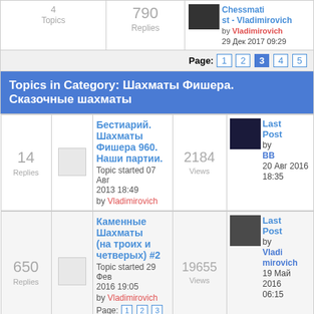шахматам Фишера 960 и Сказочным шахматам — Moderators: Vladimirovich, Ruslan73 | 4 Topics | 790 Replies | Last post by Vladimirovich 29 Дек 2017 09:29
Page: 1 2 3 4 5
Topics in Category: Шахматы Фишера. Сказочные шахматы
Бестиарий. Шахматы Фишера 960. Наши партии. Topic started 07 Авг 2013 18:49 by Vladimirovich — 14 Replies — 2184 Views — Last Post by BB 20 Авг 2016 18:35
Каменные Шахматы (на троих и четверых) #2 — Topic started 29 Фев 2016 19:05 by Vladimirovich — 650 Replies — 19655 Views — Last Post by Vladimirovich 19 Май 2016 06:15 — Page: 1 2 3 ... 20 21 22